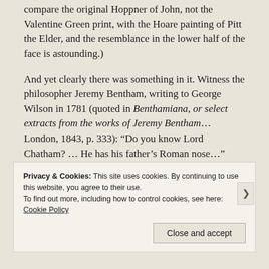compare the original Hoppner of John, not the Valentine Green print, with the Hoare painting of Pitt the Elder, and the resemblance in the lower half of the face is astounding.)
And yet clearly there was something in it. Witness the philosopher Jeremy Bentham, writing to George Wilson in 1781 (quoted in Benthamiana, or select extracts from the works of Jeremy Bentham… London, 1843, p. 333): “Do you know Lord Chatham? … He has his father’s Roman nose…”
Wait, what?!
I always assumed the two older Pitt brothers looked like their mother (John’s jaw notwithstanding). John definitely had his
Privacy & Cookies: This site uses cookies. By continuing to use this website, you agree to their use.
To find out more, including how to control cookies, see here: Cookie Policy
Close and accept